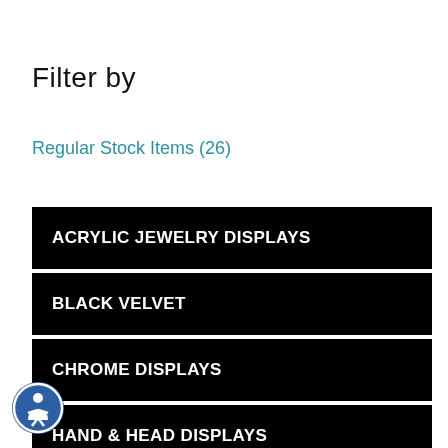Filter by
Regular Stock Items (26)
ACRYLIC JEWELRY DISPLAYS
BLACK VELVET
CHROME DISPLAYS
HAND & HEAD DISPLAYS
JEWELRY BAGS
[Figure (illustration): Accessibility icon - person in circle, blue background]